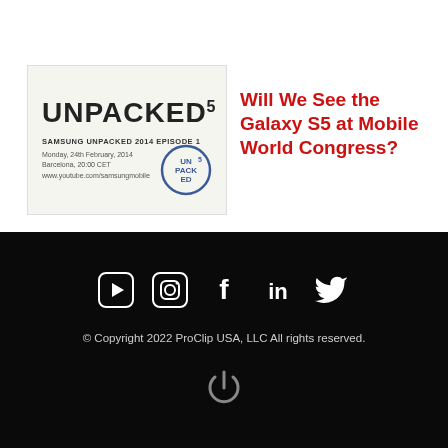[Figure (photo): Partial top of a product photo (skin/phone) cropped at the top edge]
[Figure (screenshot): Samsung Unpacked 5 event invitation card showing 'UNPACKED 5', 'SAMSUNG UNPACKED 2014 EPISODE 1', 'Monday, 24th February, 2014', 'Barcelona, 20:00 CET', 'www.youtube.com/samsungmobile' with a blue stamp logo]
Will We See the Galaxy S5 at Mobile World Congress?
[Figure (other): Social media icons: YouTube, Instagram, Facebook, LinkedIn, Twitter in white on black background]
© Copyright 2022 ProClip USA, LLC All rights reserved.
[Figure (logo): Power/circle logo icon in grey at the bottom]